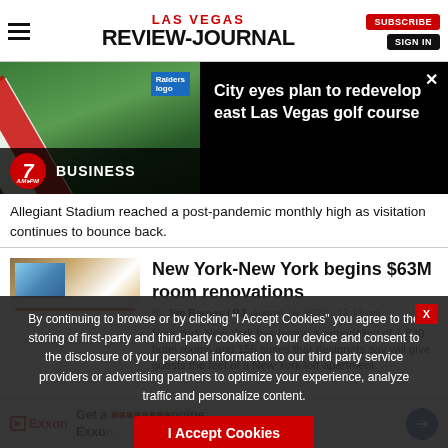LAS VEGAS REVIEW-JOURNAL
[Figure (screenshot): Promotional banner for a story about city plans to redevelop east Las Vegas golf course, with 7AM-PM Business logo]
Allegiant Stadium reached a post-pandemic monthly high as visitation continues to bounce back.
New York-New York begins $63M room renovations
By Jim Barnes / RJ  August 16, 2022 - 12:13 pm
New York-New York has begun a remodeling of 1,830 hotel rooms and 155 suites that designers say will give guests the feel of a New York loft apartment.
By continuing to browse or by clicking "I Accept Cookies" you agree to the storing of first-party and third-party cookies on your device and consent to the disclosure of your personal information to our third party service providers or advertising partners to optimize your experience, analyze traffic and personalize content.
I Accept Cookies